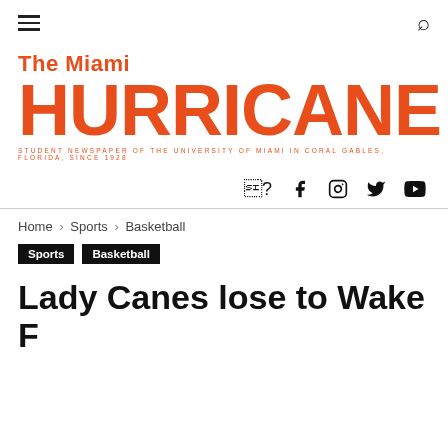[Figure (logo): The Miami Hurricane student newspaper logo in orange/red color with tagline: STUDENT NEWSPAPER OF THE UNIVERSITY OF MIAMI IN CORAL GABLES, FLORIDA, SINCE 1928]
f  Instagram  Twitter  YouTube (social media icons)
Home › Sports › Basketball
Sports  Basketball (tags)
Lady Canes lose to Wake Forest after late turnaround